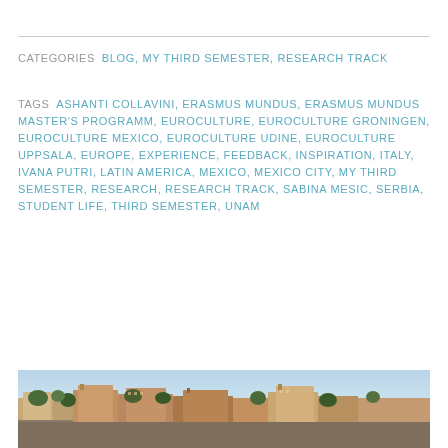CATEGORIES  BLOG, MY THIRD SEMESTER, RESEARCH TRACK
TAGS  ASHANTI COLLAVINI, ERASMUS MUNDUS, ERASMUS MUNDUS MASTER'S PROGRAMM, EUROCULTURE, EUROCULTURE GRONINGEN, EUROCULTURE MEXICO, EUROCULTURE UDINE, EUROCULTURE UPPSALA, EUROPE, EXPERIENCE, FEEDBACK, INSPIRATION, ITALY, IVANA PUTRI, LATIN AMERICA, MEXICO, MEXICO CITY, MY THIRD SEMESTER, RESEARCH, RESEARCH TRACK, SABINA MESIC, SERBIA, STUDENT LIFE, THIRD SEMESTER, UNAM
[Figure (photo): Aerial/panoramic view of a city, likely Mexico City, showing rooftops, buildings and trees]